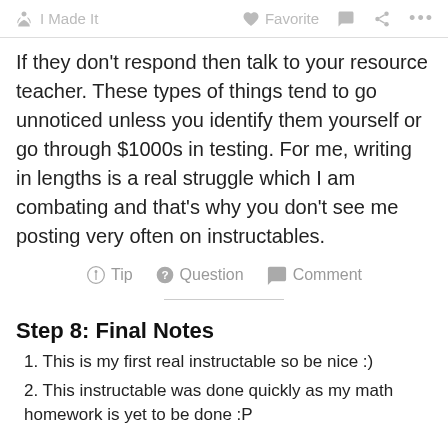I Made It   Favorite   Comment   Share   ...
If they don't respond then talk to your resource teacher. These types of things tend to go unnoticed unless you identify them yourself or go through $1000s in testing. For me, writing in lengths is a real struggle which I am combating and that's why you don't see me posting very often on instructables.
Tip   Question   Comment
Step 8: Final Notes
1. This is my first real instructable so be nice :)
2. This instructable was done quickly as my math homework is yet to be done :P